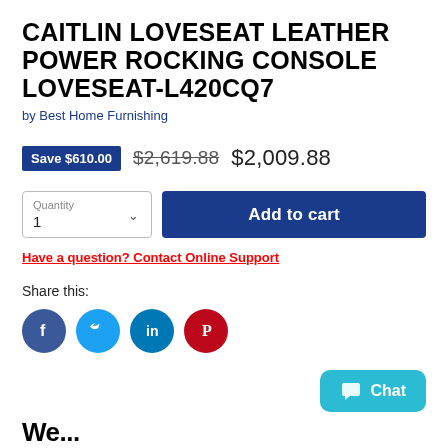CAITLIN LOVESEAT LEATHER POWER ROCKING CONSOLE LOVESEAT-L420CQ7
by Best Home Furnishing
Save $610.00  $2,619.88  $2,009.88
Quantity 1  Add to cart
Have a question? Contact Online Support
Share this:
[Figure (other): Social share icons: Facebook, Twitter, LinkedIn, Pinterest]
[Figure (other): Chat button with chat icon]
We...